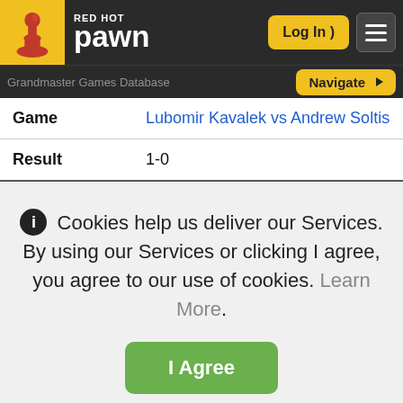Red Hot Pawn — Log In | Navigate
Grandmaster Games Database
|  |  |
| --- | --- |
| Game | Lubomir Kavalek vs Andrew Soltis |
| Result | 1-0 |
Cookies help us deliver our Services. By using our Services or clicking I Agree, you agree to our use of cookies. Learn More.
I Agree